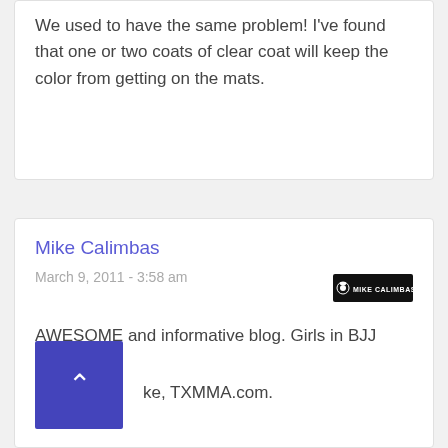We used to have the same problem! I've found that one or two coats of clear coat will keep the color from getting on the mats.
Mike Calimbas
March 9, 2011 - 3:58 am
AWESOME and informative blog. Girls in BJJ rock!
ke, TXMMA.com.